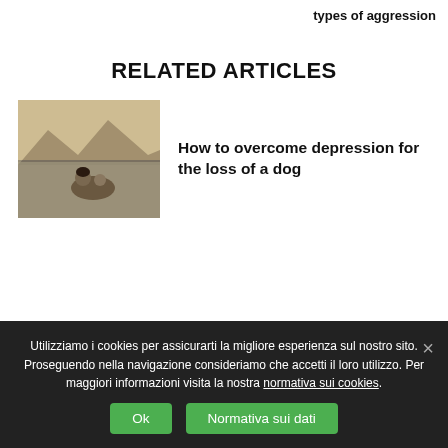types of aggression
RELATED ARTICLES
[Figure (photo): Person sitting with a dog by a lake with mountains in background]
How to overcome depression for the loss of a dog
[Figure (photo): Person riding a bicycle with a dog running alongside, motion blur effect]
Dogs and bikes, is it legal? Can you use a bicycle...
Utilizziamo i cookies per assicurarti la migliore esperienza sul nostro sito. Proseguendo nella navigazione consideriamo che accetti il loro utilizzo. Per maggiori informazioni visita la nostra normativa sui cookies.